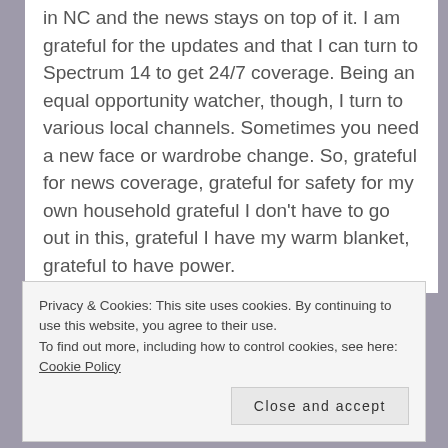in NC and the news stays on top of it. I am grateful for the updates and that I can turn to Spectrum 14 to get 24/7 coverage. Being an equal opportunity watcher, though, I turn to various local channels. Sometimes you need a new face or wardrobe change. So, grateful for news coverage, grateful for safety for my own household grateful I don't have to go out in this, grateful I have my warm blanket, grateful to have power.
[Figure (photo): Two snow shovels with orange D-grip handles and gray metal shafts, crossed and leaning together]
Privacy & Cookies: This site uses cookies. By continuing to use this website, you agree to their use. To find out more, including how to control cookies, see here: Cookie Policy
Close and accept